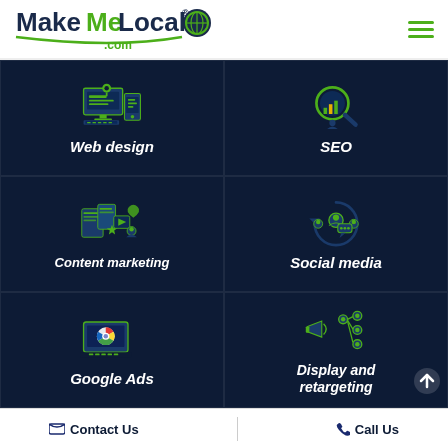MakeMeLocal.com
[Figure (illustration): Web design icon: desktop monitor and mobile device with green accents]
Web design
[Figure (illustration): SEO icon: magnifying glass with bar chart and person]
SEO
[Figure (illustration): Content marketing icon: documents, social media elements, and person]
Content marketing
[Figure (illustration): Social media icon: group of people with speech bubbles]
Social media
[Figure (illustration): Google Ads icon: laptop with Google Chrome logo]
Google Ads
[Figure (illustration): Display and retargeting icon: network/targeting diagram with nodes]
Display and retargeting
Contact Us   Call Us